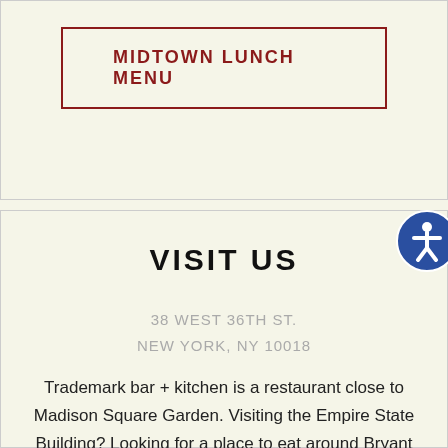MIDTOWN LUNCH MENU
VISIT US
38 WEST 36TH ST.
NEW YORK, NY 10018
Trademark bar + kitchen is a restaurant close to Madison Square Garden. Visiting the Empire State Building? Looking for a place to eat around Bryant Park...or a bar near Macy's for an “after shopping treat”? We are your food, bar, bar and...